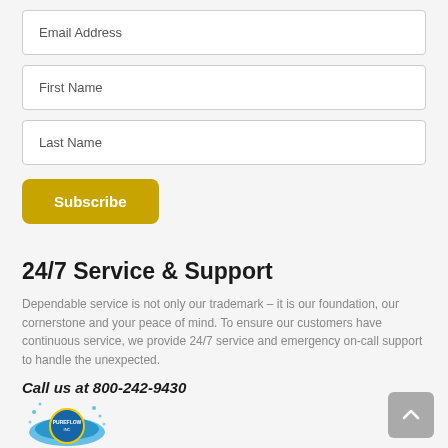Email Address
First Name
Last Name
Subscribe
24/7 Service & Support
Dependable service is not only our trademark – it is our foundation, our cornerstone and your peace of mind. To ensure our customers have continuous service, we provide 24/7 service and emergency on-call support to handle the unexpected.
Call us at 800-242-9430
[Figure (logo): PureFlow Inc. logo with water splash design]